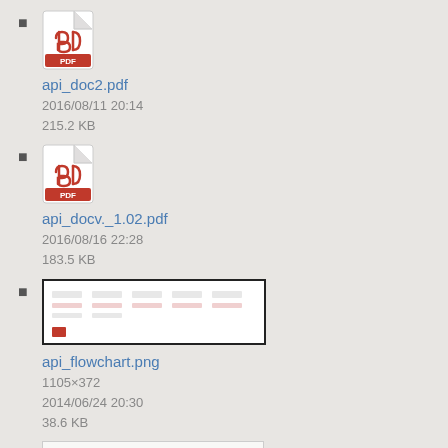api_doc2.pdf
2016/08/11 20:14
215.2 KB
api_docv._1.02.pdf
2016/08/16 22:28
183.5 KB
api_flowchart.png
1105×372
2014/06/24 20:30
38.6 KB
applicationassessmentcriteria.png
1121×257